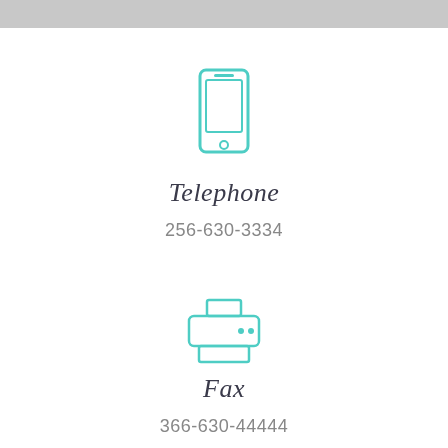[Figure (illustration): Teal/turquoise outline icon of a smartphone centered on the page]
Telephone
256-630-3334
[Figure (illustration): Teal/turquoise outline icon of a printer centered on the page]
Fax
366-630-44444